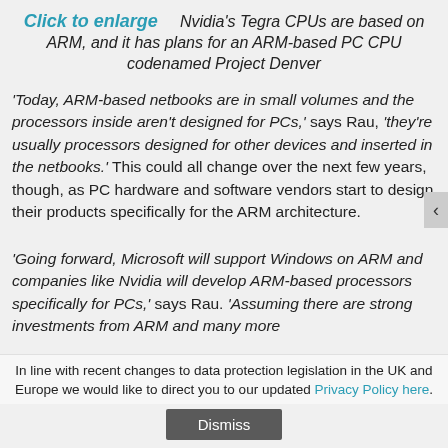Click to enlarge  Nvidia's Tegra CPUs are based on ARM, and it has plans for an ARM-based PC CPU codenamed Project Denver
'Today, ARM-based netbooks are in small volumes and the processors inside aren't designed for PCs,' says Rau, 'they're usually processors designed for other devices and inserted in the netbooks.' This could all change over the next few years, though, as PC hardware and software vendors start to design their products specifically for the ARM architecture.
'Going forward, Microsoft will support Windows on ARM and companies like Nvidia will develop ARM-based processors specifically for PCs,' says Rau. 'Assuming there are strong investments from ARM and many more
In line with recent changes to data protection legislation in the UK and Europe we would like to direct you to our updated Privacy Policy here.
Dismiss